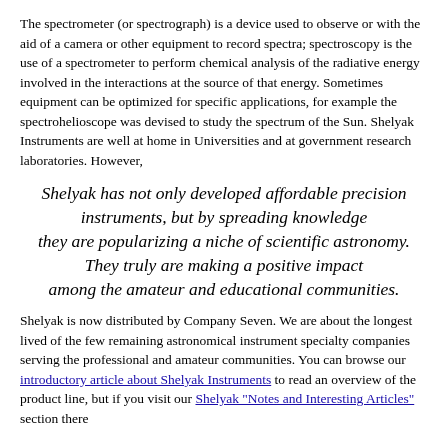The spectrometer (or spectrograph) is a device used to observe or with the aid of a camera or other equipment to record spectra; spectroscopy is the use of a spectrometer to perform chemical analysis of the radiative energy involved in the interactions at the source of that energy. Sometimes equipment can be optimized for specific applications, for example the spectrohelioscope was devised to study the spectrum of the Sun. Shelyak Instruments are well at home in Universities and at government research laboratories. However,
Shelyak has not only developed affordable precision instruments, but by spreading knowledge they are popularizing a niche of scientific astronomy. They truly are making a positive impact among the amateur and educational communities.
Shelyak is now distributed by Company Seven. We are about the longest lived of the few remaining astronomical instrument specialty companies serving the professional and amateur communities. You can browse our introductory article about Shelyak Instruments to read an overview of the product line, but if you visit our Shelyak "Notes and Interesting Articles" section there